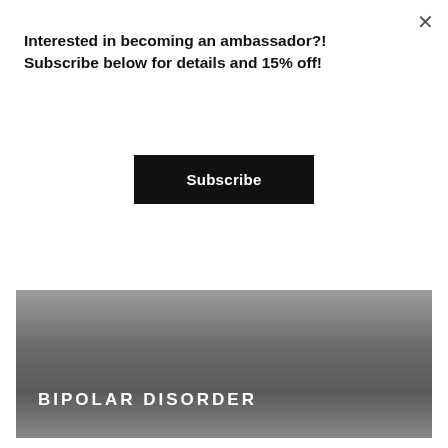Interested in becoming an ambassador?! Subscribe below for details and 15% off!
[Figure (other): Black 'Subscribe' button]
[Figure (photo): Grey gradient banner image with white bold text reading 'BIPOLAR DISORDER' in spaced uppercase letters at lower left]